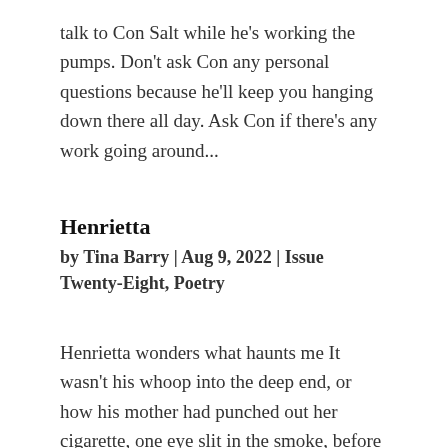talk to Con Salt while he's working the pumps. Don't ask Con any personal questions because he'll keep you hanging down there all day. Ask Con if there's any work going around...
Henrietta
by Tina Barry | Aug 9, 2022 | Issue Twenty-Eight, Poetry
Henrietta wonders what haunts me It wasn't his whoop into the deep end, or how his mother had punched out her cigarette, one eye slit in the smoke, before plunging in to save him. And it wasn't their legs churning like